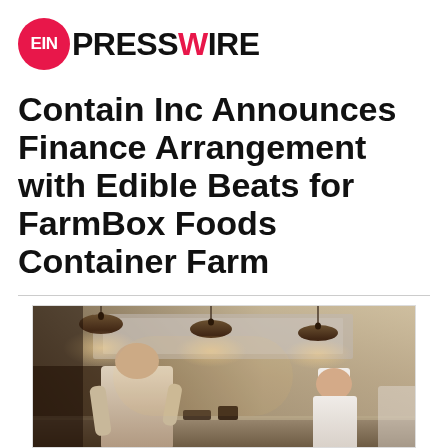EIN PRESSWIRE
Contain Inc Announces Finance Arrangement with Edible Beats for FarmBox Foods Container Farm
[Figure (photo): Restaurant kitchen scene with chefs working at a counter under pendant lamps, viewed from behind]